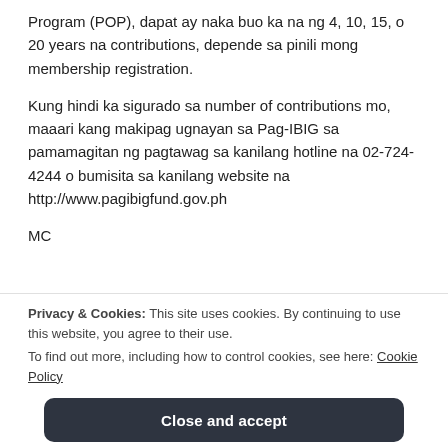Program (POP), dapat ay naka buo ka na ng 4, 10, 15, o 20 years na contributions, depende sa pinili mong membership registration.
Kung hindi ka sigurado sa number of contributions mo, maaari kang makipag ugnayan sa Pag-IBIG sa pamamagitan ng pagtawag sa kanilang hotline na 02-724-4244 o bumisita sa kanilang website na http://www.pagibigfund.gov.ph
MC
Privacy & Cookies: This site uses cookies. By continuing to use this website, you agree to their use.
To find out more, including how to control cookies, see here: Cookie Policy
Close and accept